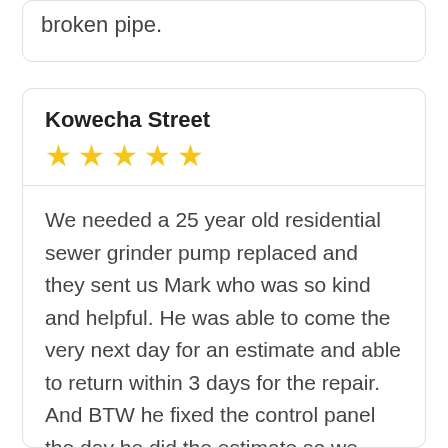broken pipe.
Kowecha Street
★★★★★ (5 stars)
We needed a 25 year old residential sewer grinder pump replaced and they sent us Mark who was so kind and helpful. He was able to come the very next day for an estimate and able to return within 3 days for the repair. And BTW he fixed the control panel the day he did the estimate so we could keep